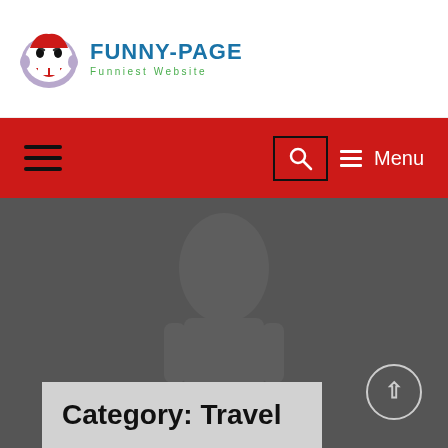[Figure (logo): Funny-Page website logo with a laughing face icon, site name FUNNY-PAGE in blue bold text, and tagline Funniest Website in green spaced lettering]
≡ Menu navigation bar with hamburger icon, search box, and Menu button on red background
[Figure (photo): Dark gray hero image area with faint ghost/figure silhouette in background]
Category: Travel